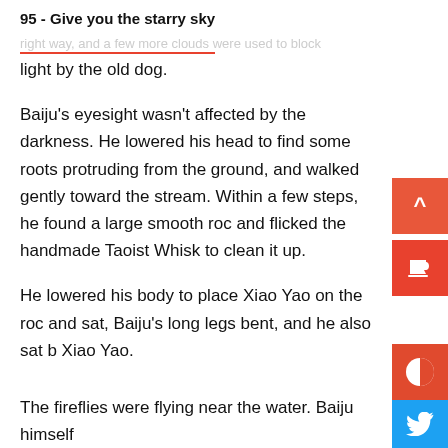95 - Give you the starry sky
light by the old dog.
Baiju's eyesight wasn't affected by the darkness. He lowered his head to find some roots protruding from the ground, and walked gently toward the stream. Within a few steps, he found a large smooth roc and flicked the handmade Taoist Whisk to clean it up.
He lowered his body to place Xiao Yao on the rock and sat, Baiju's long legs bent, and he also sat b Xiao Yao.
The fireflies were flying near the water. Baiju himself